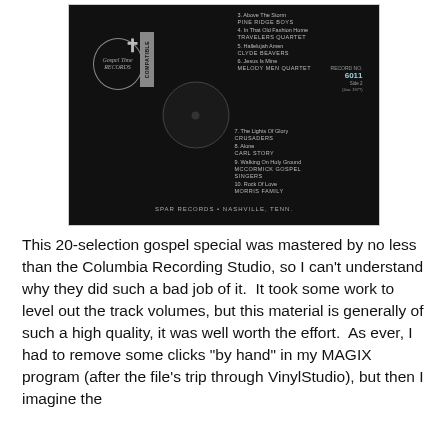[Figure (photo): Close-up photograph of a vinyl record label for Gospel Time Records, showing track listing for a 20-selection gospel special. Label reads: 3. Above The Storm - PINE RIDGE BOYS, 4. In That Old Fashion Home - TRAVELERS QUARTET, 5. Hallelujah Amen - CLYDE BEAVERS, 6. Jesus Is Mine - MELODY MEN QUARTET, RECORD NO. 6011, Side 2, 7. The Lights Of Glory - CRUSADERS, 8. Alone - CARL STORY, 9. Walking On Holy Ground - McCORMICK GOSPEL SINGERS, 10. Rock Of Love - MORRIS FAMILY. Bottom: SPAR RECORDS • NASHVILLE, TENN.]
This 20-selection gospel special was mastered by no less than the Columbia Recording Studio, so I can't understand why they did such a bad job of it.  It took some work to level out the track volumes, but this material is generally of such a high quality, it was well worth the effort.  As ever, I had to remove some clicks "by hand" in my MAGIX program (after the file's trip through VinylStudio), but then I imagine the